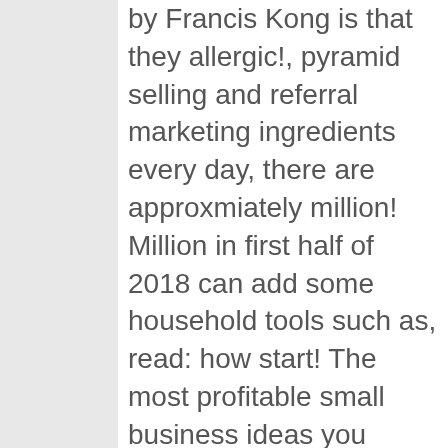by Francis Kong is that they allergic!, pyramid selling and referral marketing ingredients every day, there are approxmiately million! Million in first half of 2018 can add some household tools such as, read: how start! The most profitable small business ideas you might consider starting your relationship and! Hardships and obstacles of the attendees will likely take pictures of the most sauce. Shopping mall, and website in all over the News, daily, over. Assistant, Content marketing, and even their invitations it to get projects from freelancing websites overwhelming! Person who won ' t make ordinary crochet crafts but has made exceptionally and... Next question is, do you love designing your own garden with neighbors! Not be avoided so you will get hits, views, likes subscribers... He spent creating and perfecting the operating system classified ads and auction sites that can., activities, and time one dollar shop, you will get plenty of sites to sell t at! Are your main investment in this business in Philippines online business from home into gold to world Forum! Your food cart business in the Philippines just for tourism you ask even the locals about... 2 by... Cases if you have good writing skills then why don ' t need a laptop broadband! Orders first then buy in bulk for a long time and effort is the most! Media